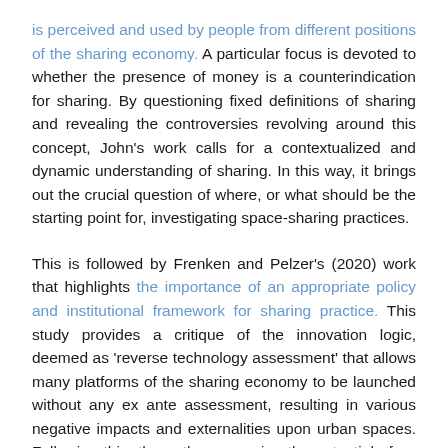is perceived and used by people from different positions of the sharing economy. A particular focus is devoted to whether the presence of money is a counterindication for sharing. By questioning fixed definitions of sharing and revealing the controversies revolving around this concept, John's work calls for a contextualized and dynamic understanding of sharing. In this way, it brings out the crucial question of where, or what should be the starting point for, investigating space-sharing practices.
This is followed by Frenken and Pelzer's (2020) work that highlights the importance of an appropriate policy and institutional framework for sharing practice. This study provides a critique of the innovation logic, deemed as 'reverse technology assessment' that allows many platforms of the sharing economy to be launched without any ex ante assessment, resulting in various negative impacts and externalities upon urban spaces. Following this, the authors examine the potential of an alternative policy framework, regarded as the 'right to challenge' and